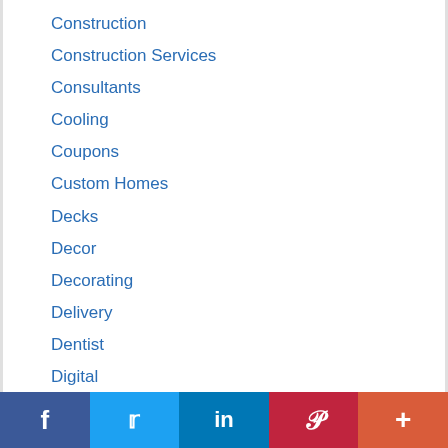Construction
Construction Services
Consultants
Cooling
Coupons
Custom Homes
Decks
Decor
Decorating
Delivery
Dentist
Digital
Digital Advertising
Digital Marketing
f  t  in  P  +